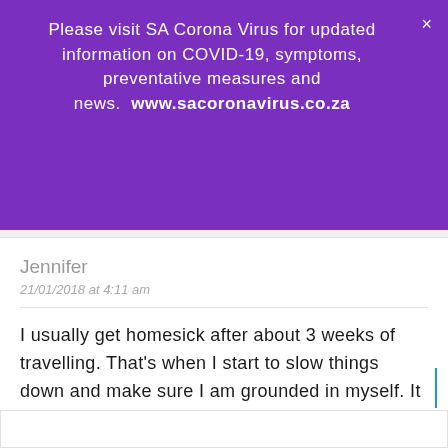Please visit SA Corona Virus for updated information on COVID-19, symptoms, preventative measures and news. www.sacoronavirus.co.za
Jennifer
21/01/2018 at 4:11 am
I usually get homesick after about 3 weeks of travelling. That's when I start to slow things down and make sure I am grounded in myself. It helps to know I am going home eventually so I don't have to worry.
Reply